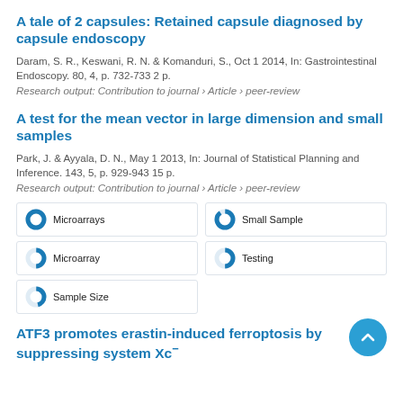A tale of 2 capsules: Retained capsule diagnosed by capsule endoscopy
Daram, S. R., Keswani, R. N. & Komanduri, S., Oct 1 2014, In: Gastrointestinal Endoscopy. 80, 4, p. 732-733 2 p.
Research output: Contribution to journal › Article › peer-review
A test for the mean vector in large dimension and small samples
Park, J. & Ayyala, D. N., May 1 2013, In: Journal of Statistical Planning and Inference. 143, 5, p. 929-943 15 p.
Research output: Contribution to journal › Article › peer-review
[Figure (infographic): Five keyword badge items in a 2-column grid: Microarrays (full donut), Small Sample (nearly full donut), Microarray (half donut), Testing (half donut), Sample Size (half donut)]
ATF3 promotes erastin-induced ferroptosis by suppressing system Xc⁻